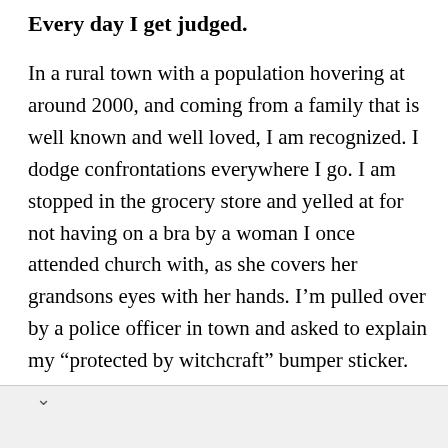Every day I get judged.
In a rural town with a population hovering at around 2000, and coming from a family that is well known and well loved, I am recognized. I dodge confrontations everywhere I go. I am stopped in the grocery store and yelled at for not having on a bra by a woman I once attended church with, as she covers her grandsons eyes with her hands. I’m pulled over by a police officer in town and asked to explain my “protected by witchcraft” bumper sticker. Postal employees curl up